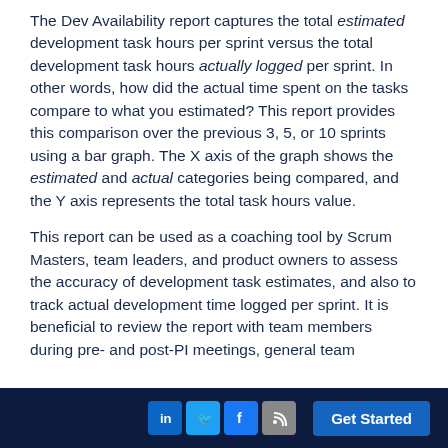The Dev Availability report captures the total estimated development task hours per sprint versus the total development task hours actually logged per sprint. In other words, how did the actual time spent on the tasks compare to what you estimated? This report provides this comparison over the previous 3, 5, or 10 sprints using a bar graph. The X axis of the graph shows the estimated and actual categories being compared, and the Y axis represents the total task hours value.
This report can be used as a coaching tool by Scrum Masters, team leaders, and product owners to assess the accuracy of development task estimates, and also to track actual development time logged per sprint. It is beneficial to review the report with team members during pre- and post-PI meetings, general team
LinkedIn Twitter Facebook RSS Get Started